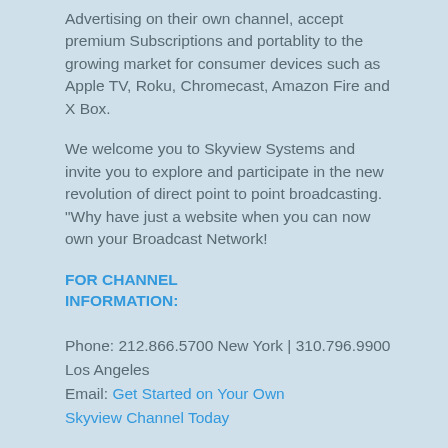Advertising on their own channel, accept premium Subscriptions and portablity to the growing market for consumer devices such as Apple TV, Roku, Chromecast, Amazon Fire and X Box.
We welcome you to Skyview Systems and invite you to explore and participate in the new revolution of direct point to point broadcasting. "Why have just a website when you can now own your Broadcast Network!
FOR CHANNEL INFORMATION:
Phone: 212.866.5700 New York | 310.796.9900 Los Angeles
Email: Get Started on Your Own Skyview Channel Today